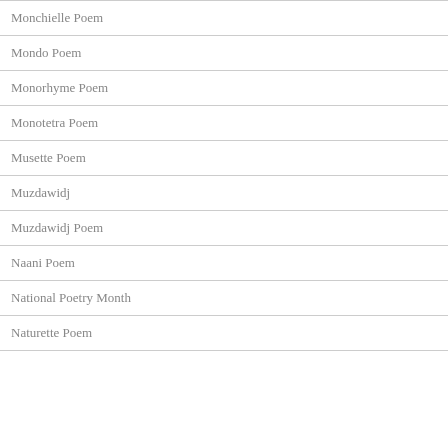Monchielle Poem
Mondo Poem
Monorhyme Poem
Monotetra Poem
Musette Poem
Muzdawidj
Muzdawidj Poem
Naani Poem
National Poetry Month
Naturette Poem